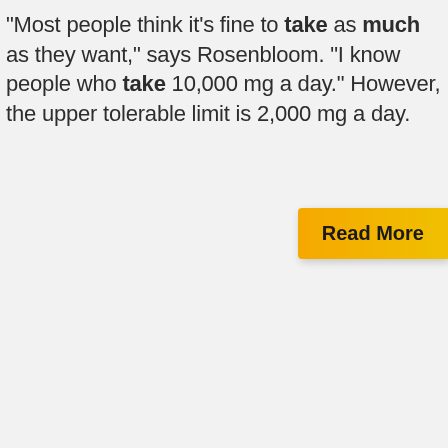"Most people think it's fine to take as much as they want," says Rosenbloom. "I know people who take 10,000 mg a day." However, the upper tolerable limit is 2,000 mg a day.
Read More